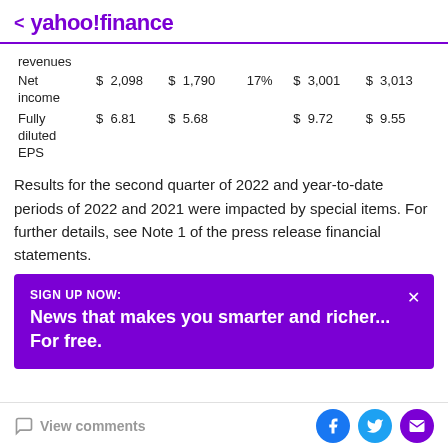< yahoo!finance
|  |  |  |  |  |  |  |
| --- | --- | --- | --- | --- | --- | --- |
| revenues |  |  |  |  |  |  |
| Net income | $ 2,098 | $ 1,790 | 17% | $ 3,001 | $ 3,013 |  |
| Fully diluted EPS | $ 6.81 | $ 5.68 |  | $ 9.72 | $ 9.55 |  |
Results for the second quarter of 2022 and year-to-date periods of 2022 and 2021 were impacted by special items. For further details, see Note 1 of the press release financial statements.
SIGN UP NOW: News that makes you smarter and richer... For free.
View comments